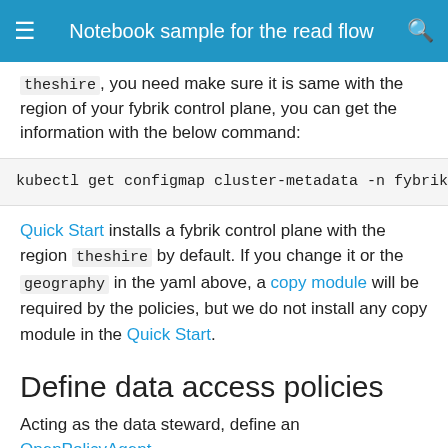Notebook sample for the read flow
theshire, you need make sure it is same with the region of your fybrik control plane, you can get the information with the below command:
kubectl get configmap cluster-metadata -n fybrik-syste
Quick Start installs a fybrik control plane with the region theshire by default. If you change it or the geography in the yaml above, a copy module will be required by the policies, but we do not install any copy module in the Quick Start.
Define data access policies
Acting as the data steward, define an OpenPolicyAgent